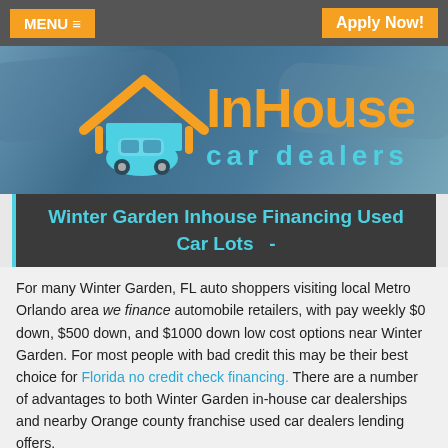MENU ≡   Apply Now!
[Figure (logo): InHouse car dealers logo with orange house/chevron icon, blue car icon, orange InHouse text and cyan car dealers text on blue-tinted background with cars]
Winter Garden Inhouse Financing Used Car Lots  -
For many Winter Garden, FL auto shoppers visiting local Metro Orlando area we finance automobile retailers, with pay weekly $0 down, $500 down, and $1000 down low cost options near Winter Garden. For most people with bad credit this may be their best choice for Florida no credit check financing. There are a number of advantages to both Winter Garden in-house car dealerships and nearby Orange county franchise used car dealers lending offers.
Pay Inhouse car lots offer the following advantages to people without good credit in Florida: